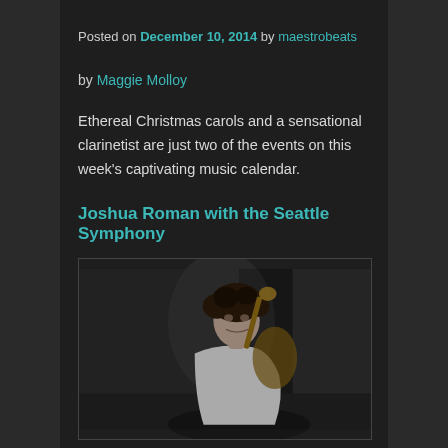Posted on December 10, 2014 by maestrobeats
by Maggie Molloy
Ethereal Christmas carols and a sensational clarinetist are just two of the events on this week's captivating music calendar.
Joshua Roman with the Seattle Symphony
[Figure (photo): Black and white portrait photo of a young man holding a cello, leaning against a brick wall in an alley. The man has curly dark hair and is wearing a light-colored jacket.]